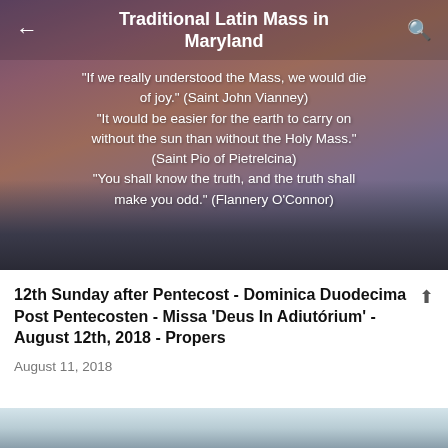Traditional Latin Mass in Maryland
"If we really understood the Mass, we would die of joy." (Saint John Vianney) "It would be easier for the earth to carry on without the sun than without the Holy Mass." (Saint Pio of Pietrelcina) "You shall know the truth, and the truth shall make you odd." (Flannery O'Connor)
12th Sunday after Pentecost - Dominica Duodecima Post Pentecosten - Missa 'Deus In Adiutórium' - August 12th, 2018 - Propers
August 11, 2018
[Figure (photo): Landscape photo showing misty hills or mountains in soft morning light]